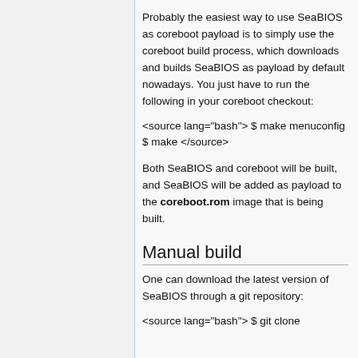Probably the easiest way to use SeaBIOS as coreboot payload is to simply use the coreboot build process, which downloads and builds SeaBIOS as payload by default nowadays. You just have to run the following in your coreboot checkout:
<source lang="bash"> $ make menuconfig $ make </source>
Both SeaBIOS and coreboot will be built, and SeaBIOS will be added as payload to the coreboot.rom image that is being built.
Manual build
One can download the latest version of SeaBIOS through a git repository:
<source lang="bash"> $ git clone